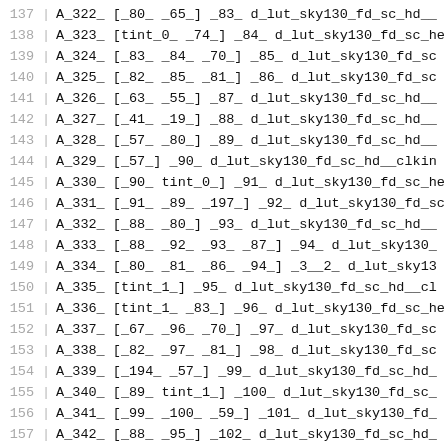137  A_322_ [_80_ _65_] _83_ d_lut_sky130_fd_sc_hd__
138  A_323_ [tint_0_ _74_] _84_ d_lut_sky130_fd_sc_h
139  A_324_ [_83_ _84_ _70_] _85_ d_lut_sky130_fd_sc
140  A_325_ [_82_ _85_ _81_] _86_ d_lut_sky130_fd_sc
141  A_326_ [_63_ _55_] _87_ d_lut_sky130_fd_sc_hd__
142  A_327_ [_41_ _19_] _88_ d_lut_sky130_fd_sc_hd__
143  A_328_ [_57_ _80_] _89_ d_lut_sky130_fd_sc_hd__
144  A_329_ [_57_] _90_ d_lut_sky130_fd_sc_hd__clkin
145  A_330_ [_90_ tint_0_] _91_ d_lut_sky130_fd_sc_h
146  A_331_ [_91_ _89_ _197_] _92_ d_lut_sky130_fd_s
147  A_332_ [_88_ _80_] _93_ d_lut_sky130_fd_sc_hd__
148  A_333_ [_88_ _92_ _93_ _87_] _94_ d_lut_sky130_
149  A_334_ [_80_ _81_ _86_ _94_] _3__2_ d_lut_sky13
150  A_335_ [tint_1_] _95_ d_lut_sky130_fd_sc_hd__cl
151  A_336_ [tint_1_ _83_] _96_ d_lut_sky130_fd_sc_h
152  A_337_ [_67_ _96_ _70_] _97_ d_lut_sky130_fd_sc
153  A_338_ [_82_ _97_ _81_] _98_ d_lut_sky130_fd_sc
154  A_339_ [_194_ _57_] _99_ d_lut_sky130_fd_sc_hd_
155  A_340_ [_89_ tint_1_] _100_ d_lut_sky130_fd_sc_
156  A_341_ [_99_ _100_ _59_] _101_ d_lut_sky130_fd_
157  A_342_ [_88_ _95_] _102_ d_lut_sky130_fd_sc_hd_